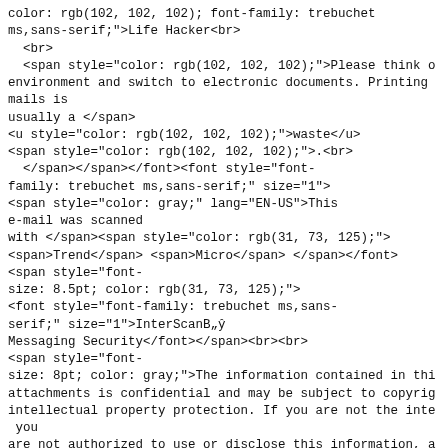color: rgb(102, 102, 102); font-family: trebuchet ms,sans-serif;">Life Hacker<br>
  <br>
  <span style="color: rgb(102, 102, 102);">Please think of environment and switch to electronic documents. Printing mails is
usually a </span>
<u style="color: rgb(102, 102, 102);">waste</u>
<span style="color: rgb(102, 102, 102);">.<br>
  </span></span></font><font style="font-family: trebuchet ms,sans-serif;" size="1">
<span style="color: gray;" lang="EN-US">This e-mail was scanned
with </span><span style="color: rgb(31, 73, 125);">
<span>Trend</span> <span>Micro</span> </span></font>
<span style="font-size: 8.5pt; color: rgb(31, 73, 125);">
<font style="font-family: trebuchet ms,sans-serif;" size="1">InterScanВ„ў
Messaging Security</font></span><br><br>
<span style="font-size: 8pt; color: gray;">The information contained in thi attachments is confidential and may be subject to copyrig intellectual property protection. If you are not the inte you
are not authorized to use or disclose this information, a that you
notify us by reply mail or telephone and delete the orig from your
mail system.</span></p><br>